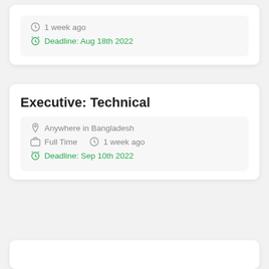1 week ago
Deadline: Aug 18th 2022
Executive: Technical
Anywhere in Bangladesh
Full Time   1 week ago
Deadline: Sep 10th 2022